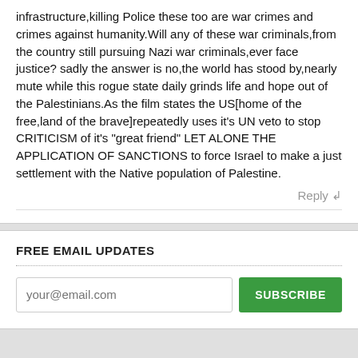infrastructure,killing Police these too are war crimes and crimes against humanity.Will any of these war criminals,from the country still pursuing Nazi war criminals,ever face justice? sadly the answer is no,the world has stood by,nearly mute while this rogue state daily grinds life and hope out of the Palestinians.As the film states the US[home of the free,land of the brave]repeatedly uses it's UN veto to stop CRITICISM of it's "great friend" LET ALONE THE APPLICATION OF SANCTIONS to force Israel to make a just settlement with the Native population of Palestine.
Reply ↲
FREE EMAIL UPDATES
your@email.com
SUBSCRIBE